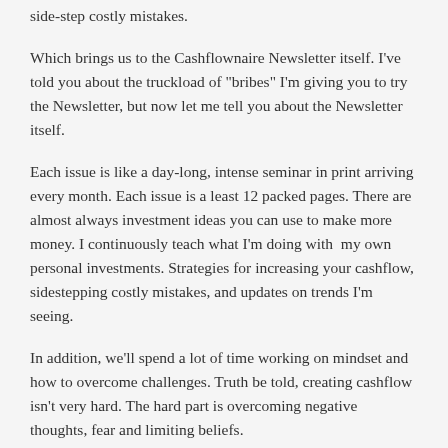side-step costly mistakes.
Which brings us to the Cashflownaire Newsletter itself. I've told you about the truckload of "bribes" I'm giving you to try the Newsletter, but now let me tell you about the Newsletter itself.
Each issue is like a day-long, intense seminar in print arriving every month. Each issue is a least 12 packed pages. There are almost always investment ideas you can use to make more money. I continuously teach what I'm doing with  my own personal investments. Strategies for increasing your cashflow, sidestepping costly mistakes, and updates on trends I'm seeing.
In addition, we'll spend a lot of time working on mindset and how to overcome challenges. Truth be told, creating cashflow isn't very hard. The hard part is overcoming negative thoughts, fear and limiting beliefs.
My secret goal for the Cashflownaire goal is to help